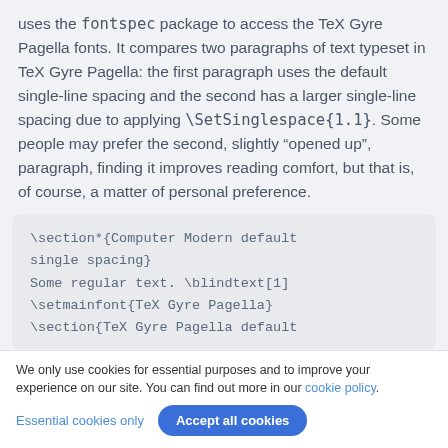uses the fontspec package to access the TeX Gyre Pagella fonts. It compares two paragraphs of text typeset in TeX Gyre Pagella: the first paragraph uses the default single-line spacing and the second has a larger single-line spacing due to applying \SetSinglespace{1.1}. Some people may prefer the second, slightly “opened up”, paragraph, finding it improves reading comfort, but that is, of course, a matter of personal preference.
[Figure (screenshot): Code block showing LaTeX source: \section*{Computer Modern default single spacing} Some regular text. \blindtext[1] \setmainfont{TeX Gyre Pagella} \section{TeX Gyre Pagella default... (partially visible, cut off)]
We only use cookies for essential purposes and to improve your experience on our site. You can find out more in our cookie policy.
Essential cookies only   Accept all cookies